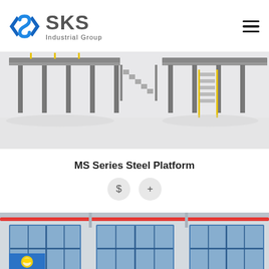[Figure (logo): SKS Industrial Group logo with blue angular S icon and gray text]
[Figure (photo): MS Series Steel Platform 3D render showing elevated industrial steel platforms with staircases and yellow railings on white background]
MS Series Steel Platform
[Figure (other): Two circular icon buttons: dollar sign ($) and plus sign (+)]
[Figure (photo): Interior of an industrial warehouse or factory building with large blue-framed windows, red overhead pipes, and a partial safety poster visible]